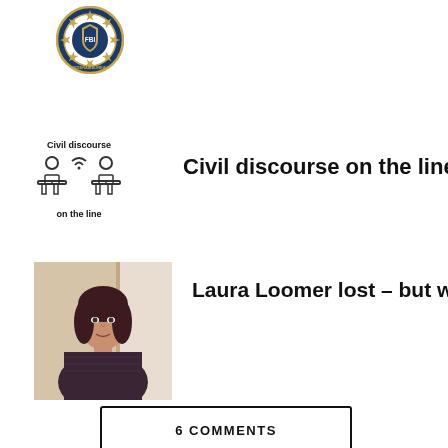[Figure (logo): FBI seal/logo circular badge with blue and gold]
[Figure (logo): Civil discourse on the line logo - two people at desks with wifi symbol, text: Civil discourse on the line]
Civil discourse on the line
[Figure (photo): Photo of Laura Loomer, a woman with dark hair]
Laura Loomer lost – but why?
6 COMMENTS
ADVERTISEMENT